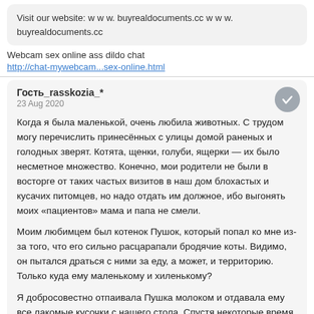Visit our website: w w w. buyrealdocuments.cc w w w. buyrealdocuments.cc
Webcam sex online ass dildo chat
http://chat-mywebcam...sex-online.html
Гость_rasskozia_*
23 Aug 2020
Когда я была маленькой, очень любила животных. С трудом могу перечислить принесённых с улицы домой раненых и голодных зверят. Котята, щенки, голуби, ящерки — их было несметное множество. Конечно, мои родители не были в восторге от таких частых визитов в наш дом блохастых и кусачих питомцев, но надо отдать им должное, ибо выгонять моих «пациентов» мама и папа не смели.
Моим любимцем был котенок Пушок, который попал ко мне из-за того, что его сильно расцарапали бродячие коты. Видимо, он пытался драться с ними за еду, а может, и территорию. Только куда ему маленькому и хиленькому?
Я добросовестно отпаивала Пушка молоком и отдавала ему все лакомые кусочки с нашего стола. Спустя некоторые время, мой